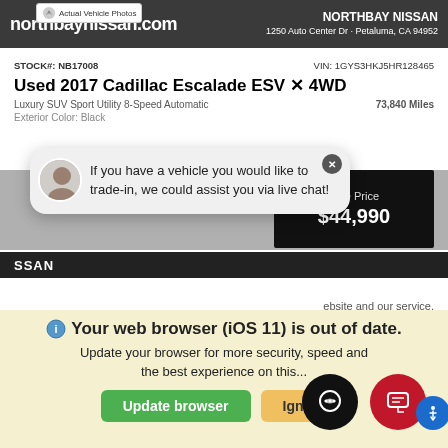[Figure (screenshot): Northbay Nissan dealership website screenshot showing a used 2017 Cadillac Escalade ESV 4WD listing with a live chat overlay, Schedule Service button, message input, and browser update warning banner at the bottom.]
northbaynissan.com | NORTHBAY NISSAN 1250 Auto Center Dr · Petaluma, CA 94952
STOCK#: NB17008 | VIN: 1GYS3HKJ5HR128465
Used 2017 Cadillac Escalade ESV 4WD
Luxury SUV Sport Utility 8-Speed Automatic | 73,840 Miles
Exterior Color: Black
Sale Price $44,990
If you have a vehicle you would like to trade-in, we could assist you via live chat!
Schedule Service
Enter your message
ebsite and our service.
Your web browser (iOS 11) is out of date. Update your browser for more security, speed and the best experience on this...
Update browser | Ignore